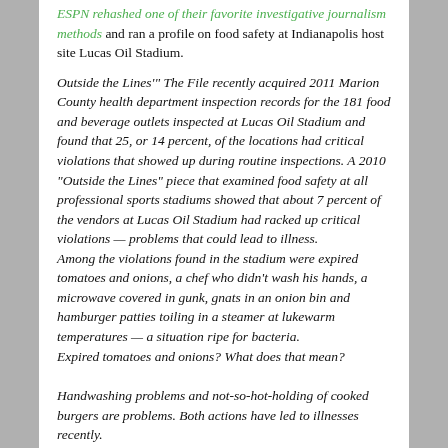ESPN rehashed one of their favorite investigative journalism methods and ran a profile on food safety at Indianapolis host site Lucas Oil Stadium.
Outside the Lines'" The File recently acquired 2011 Marion County health department inspection records for the 181 food and beverage outlets inspected at Lucas Oil Stadium and found that 25, or 14 percent, of the locations had critical violations that showed up during routine inspections. A 2010 "Outside the Lines" piece that examined food safety at all professional sports stadiums showed that about 7 percent of the vendors at Lucas Oil Stadium had racked up critical violations — problems that could lead to illness.
Among the violations found in the stadium were expired tomatoes and onions, a chef who didn't wash his hands, a microwave covered in gunk, gnats in an onion bin and hamburger patties toiling in a steamer at lukewarm temperatures — a situation ripe for bacteria.
Expired tomatoes and onions? What does that mean?
Handwashing problems and not-so-hot-holding of cooked burgers are problems. Both actions have led to illnesses recently.
In a predictable turn, coverage went from the risky to yuck factor...